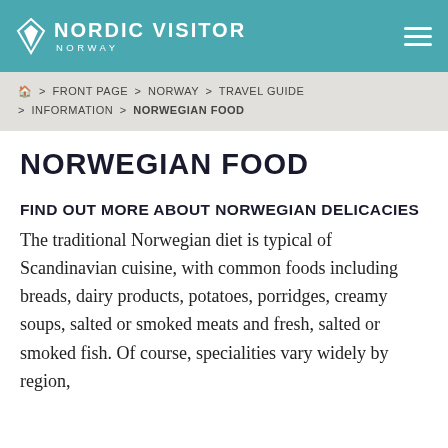NORDIC VISITOR NORWAY
🏠 > FRONT PAGE > NORWAY > TRAVEL GUIDE > INFORMATION > NORWEGIAN FOOD
NORWEGIAN FOOD
FIND OUT MORE ABOUT NORWEGIAN DELICACIES
The traditional Norwegian diet is typical of Scandinavian cuisine, with common foods including breads, dairy products, potatoes, porridges, creamy soups, salted or smoked meats and fresh, salted or smoked fish. Of course, specialities vary widely by region,